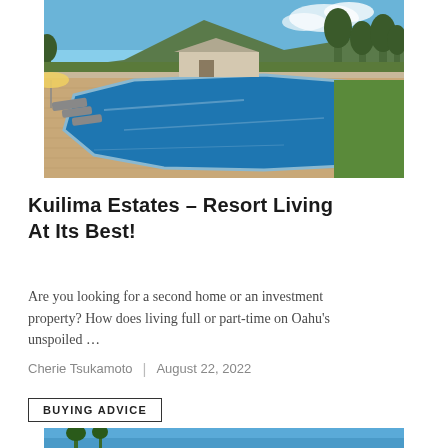[Figure (photo): Outdoor resort swimming pool with lounge chairs and umbrella, surrounded by tropical vegetation and a house in the background under a blue sky.]
Kuilima Estates – Resort Living At Its Best!
Are you looking for a second home or an investment property? How does living full or part-time on Oahu's unspoiled …
Cherie Tsukamoto | August 22, 2022
BUYING ADVICE
[Figure (photo): Partial view of a tropical sky with palm trees, bottom portion of the page.]